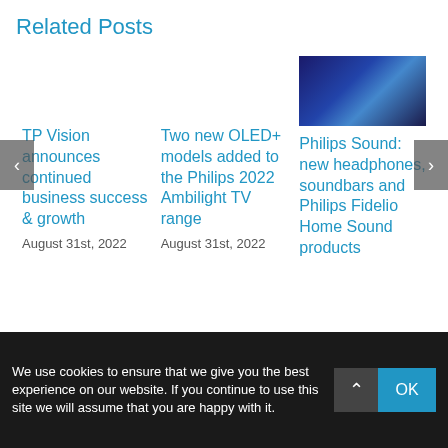Related Posts
[Figure (photo): A dimly lit room with a TV and blue ambient lighting (Ambilight-style), showing a TV displaying a scene with blue glow.]
TP Vision announces continued business success & growth
August 31st, 2022
Two new OLED+ models added to the Philips 2022 Ambilight TV range
August 31st, 2022
Philips Sound: new headphones, soundbars and Philips Fidelio Home Sound products
We use cookies to ensure that we give you the best experience on our website. If you continue to use this site we will assume that you are happy with it.